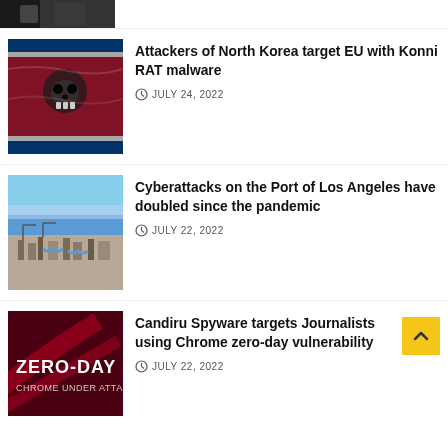[Figure (photo): Cropped top portion of a news article thumbnail (partially visible, dark building/crowd image)]
[Figure (photo): North Korea flag with skull overlay — dark red and black tones]
Attackers of North Korea target EU with Konni RAT malware
JULY 24, 2022
[Figure (photo): Aerial view of Port of Los Angeles with blue sky and coastline]
Cyberattacks on the Port of Los Angeles have doubled since the pandemic
JULY 22, 2022
[Figure (photo): Dark red background with text ZERO-DAY CHROME UNDER ATTACK]
Candiru Spyware targets Journalists using Chrome zero-day vulnerability
JULY 22, 2022